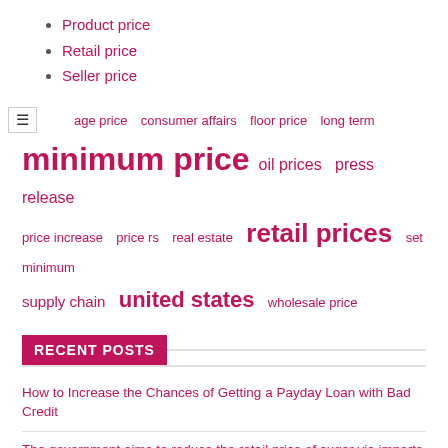Product price
Retail price
Seller price
[Figure (infographic): Tag cloud with terms: average price, consumer affairs, floor price, long term, minimum price (largest), oil prices, press release, price increase, price rs, real estate, retail prices (large), set minimum, supply chain, united states (large), wholesale price]
RECENT POSTS
How to Increase the Chances of Getting a Payday Loan with Bad Credit
The government aims to reduce the retail price of sugar via imports
Maximum sale price for current! – AndhrajyotiWAALI News
KUWTT: Retail price of sugar reaches 100 pesos per kilo | August 5, 2022